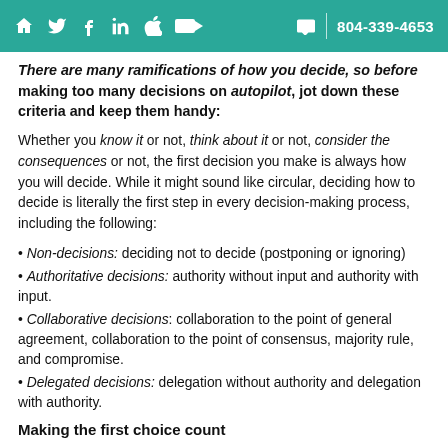804-339-4653
There are many ramifications of how you decide, so before making too many decisions on autopilot, jot down these criteria and keep them handy:
Whether you know it or not, think about it or not, consider the consequences or not, the first decision you make is always how you will decide. While it might sound like circular, deciding how to decide is literally the first step in every decision-making process, including the following:
Non-decisions: deciding not to decide (postponing or ignoring)
Authoritative decisions: authority without input and authority with input.
Collaborative decisions: collaboration to the point of general agreement, collaboration to the point of consensus, majority rule, and compromise.
Delegated decisions: delegation without authority and delegation with authority.
Making the first choice count